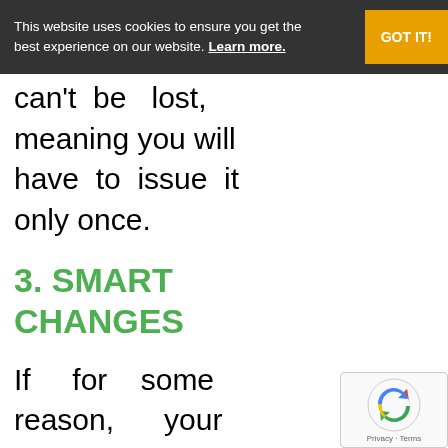This website uses cookies to ensure you get the best experience on our website. Learn more. GOT IT!
can't be lost, meaning you will have to issue it only once.
3. SMART CHANGES
If for some reason, your business address or phone number